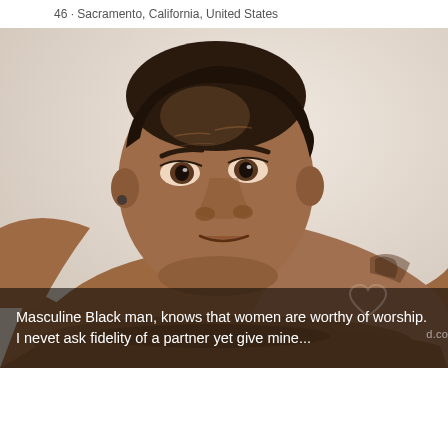46 · Sacramento, California, United States
[Figure (photo): A shirtless man with short dark hair resting his chin on his crossed forearms, looking directly at the camera against a light background. He has a tattoo visible on his upper arm.]
Masculine Black man, knows that women are worthy of worship. I nevet ask fidelity of a partner yet give mine...